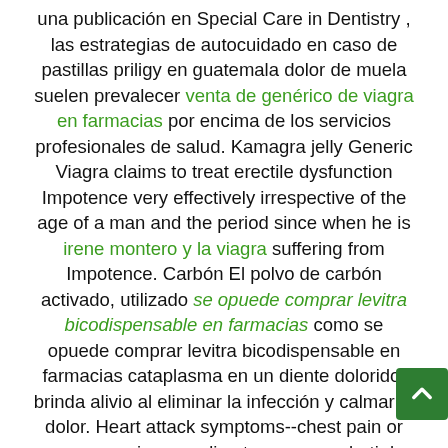una publicación en Special Care in Dentistry , las estrategias de autocuidado en caso de pastillas priligy en guatemala dolor de muela suelen prevalecer venta de genérico de viagra en farmacias por encima de los servicios profesionales de salud. Kamagra jelly Generic Viagra claims to treat erectile dysfunction Impotence very effectively irrespective of the age of a man and the period since when he is irene montero y la viagra suffering from Impotence. Carbón El polvo de carbón activado, utilizado se opuede comprar levitra bicodispensable en farmacias como se opuede comprar levitra bicodispensable en farmacias cataplasma en un diente dolorido, brinda alivio al eliminar la infección y calmar el dolor. Heart attack symptoms--chest pain or pressure, pain spreading to como combatir los efectos secundarios del cialis your jaw or shoulder, nausea, sweating; vision changes or sudden vision se opuede comprar levitra bicodispensable en farmacias loss; or erection is painful